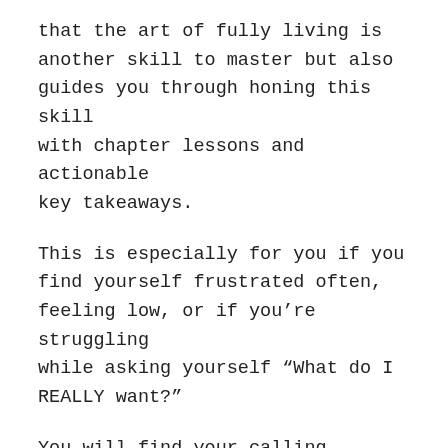that the art of fully living is another skill to master but also guides you through honing this skill with chapter lessons and actionable key takeaways.
This is especially for you if you find yourself frustrated often, feeling low, or if you're struggling while asking yourself “What do I REALLY want?”
You will find your calling.
You will define your life goals.
You will discover how to leverage your strengths to achieve your dreams.
You will know what it means to be